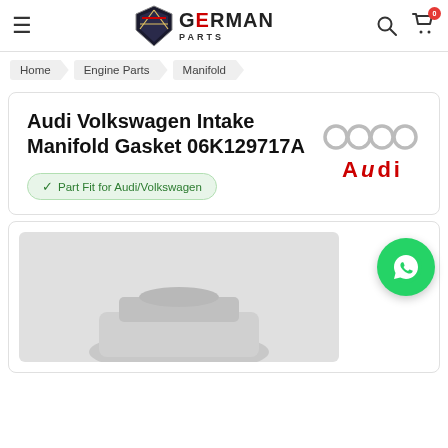German Parts — navigation header with hamburger menu, logo, search and cart icons
Home / Engine Parts / Manifold
Audi Volkswagen Intake Manifold Gasket 06K129717A
Part Fit for Audi/Volkswagen
[Figure (logo): Audi four-rings logo with AUDI text in red below]
[Figure (photo): Product image area showing gasket part, partially visible, on light grey background]